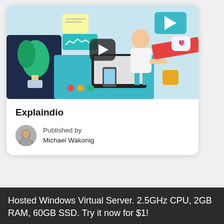[Figure (illustration): Illustrated scene of a person working at a computer desk with colorful UI elements, plants, documents, and a video play button overlay in the center]
Explaindio
Published by
Michael Wakonig
Hosted Windows Virtual Server. 2.5GHz CPU, 2GB RAM, 60GB SSD. Try it now for $1!